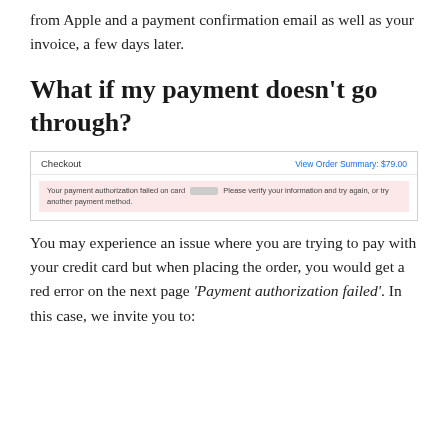from Apple and a payment confirmation email as well as your invoice, a few days later.
What if my payment doesn't go through?
[Figure (screenshot): Screenshot of an Apple checkout page showing a red error banner: 'Your payment authorization failed on card [redacted]. Please verify your information and try again, or try another payment method.' with a 'View Order Summary: $79.00' link in the top right.]
You may experience an issue where you are trying to pay with your credit card but when placing the order, you would get a red error on the next page 'Payment authorization failed'. In this case, we invite you to: